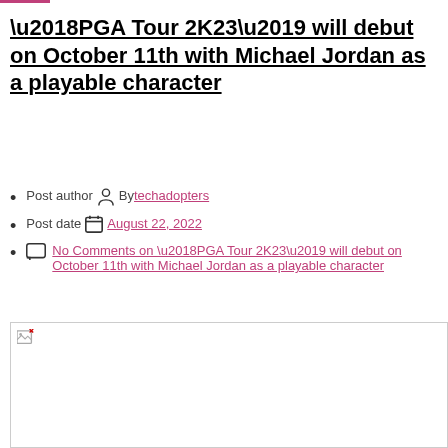'PGA Tour 2K23' will debut on October 11th with Michael Jordan as a playable character
Post author  By techadopters
Post date  August 22, 2022
No Comments on 'PGA Tour 2K23' will debut on October 11th with Michael Jordan as a playable character
[Figure (photo): Image placeholder with broken image icon in top-left corner]